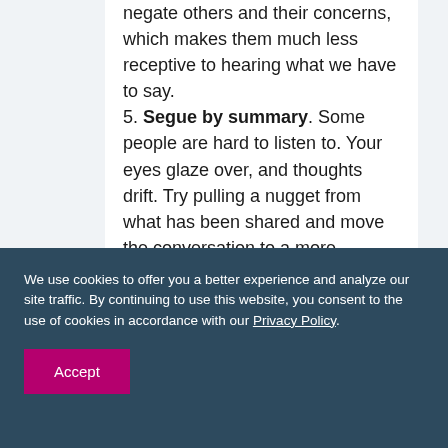negate others and their concerns, which makes them much less receptive to hearing what we have to say. 5. Segue by summary. Some people are hard to listen to. Your eyes glaze over, and thoughts drift. Try pulling a nugget from what has been shared and move the conversation to a more engaging topic. For instance,
We use cookies to offer you a better experience and analyze our site traffic. By continuing to use this website, you consent to the use of cookies in accordance with our Privacy Policy.
Accept